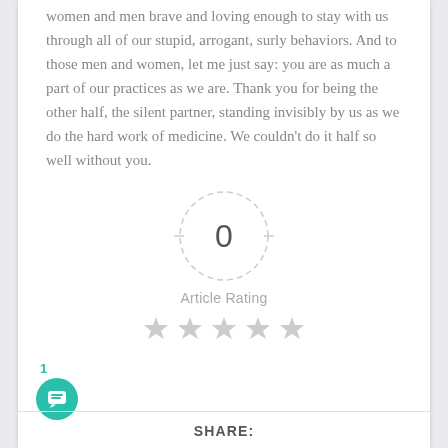women and men brave and loving enough to stay with us through all of our stupid, arrogant, surly behaviors. And to those men and women, let me just say: you are as much a part of our practices as we are. Thank you for being the other half, the silent partner, standing invisibly by us as we do the hard work of medicine. We couldn't do it half so well without you.
[Figure (other): A dashed-border circle containing the number 0, representing an article rating widget with 5 gray stars below and the label 'Article Rating']
Article Rating
SHARE: